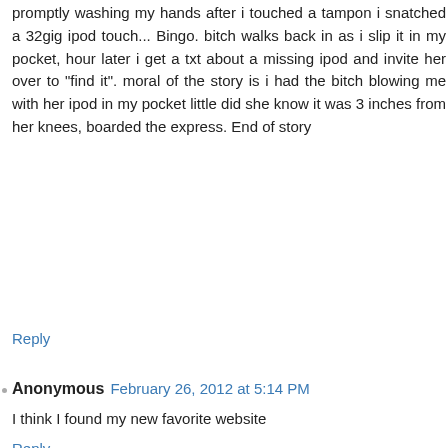promptly washing my hands after i touched a tampon i snatched a 32gig ipod touch... Bingo. bitch walks back in as i slip it in my pocket, hour later i get a txt about a missing ipod and invite her over to "find it". moral of the story is i had the bitch blowing me with her ipod in my pocket little did she know it was 3 inches from her knees, boarded the express. End of story
Reply
Anonymous  February 26, 2012 at 5:14 PM
I think I found my new favorite website
Reply
Anonymous  June 20, 2012 at 10:36 PM
If she wants to blow u in front of her daughter
Reply